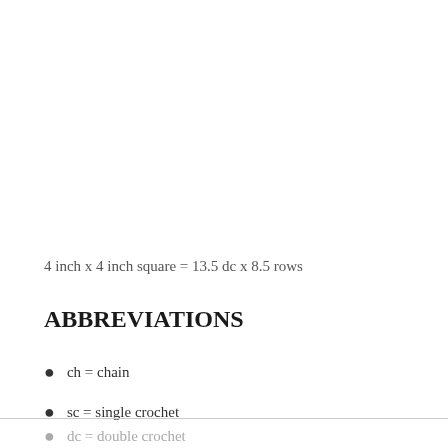4 inch x 4 inch square = 13.5 dc x 8.5 rows
ABBREVIATIONS
ch = chain
sc = single crochet
dc = double crochet
fpdc = front post double crochet